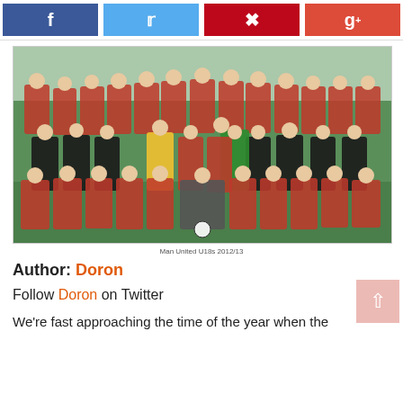[Figure (other): Social media share buttons: Facebook (blue), Twitter (light blue), Pinterest (red), Google+ (red-orange)]
[Figure (photo): Manchester United U18 team photo for 2012/13 season, players in red AON kits posed in three rows on a grass pitch, with coaching staff in dark tracksuit tops and two goalkeepers in yellow and green]
Man United U18s 2012/13
Author: Doron
Follow Doron on Twitter
We're fast approaching the time of the year when the